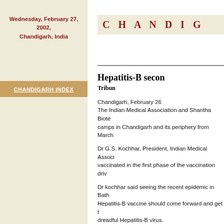Wednesday, February 27, 2002, Chandigarh, India
CHANDIGARH INDEX
CHANDIG
Hepatitis-B second
Tribune
Chandigarh, February 26
The Indian Medical Association and Shantha Biote camps in Chandigarh and its periphery from March
Dr G.S. Kochhar, President, Indian Medical Associ vaccinated in the first phase of the vaccination driv
Dr kochhar said seeing the recent epidemic in Bath Hepatitis-B vaccine should come forward and get t dreadful Hepatitis-B virus.